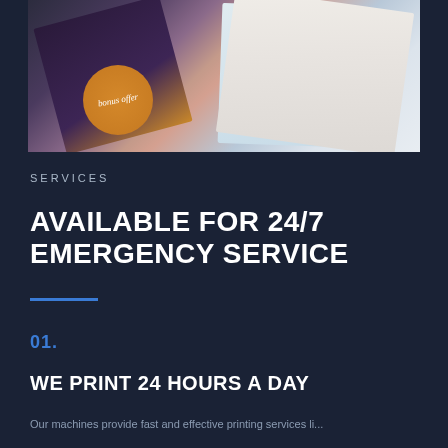[Figure (photo): Marketing brochures and printed materials fanned out, including a dark brochure with 'bonus offer' circular badge and lighter multi-panel leaflets]
Services
AVAILABLE FOR 24/7 EMERGENCY SERVICE
01.
WE PRINT 24 HOURS A DAY
Our machines provide fast and effective printing services li...